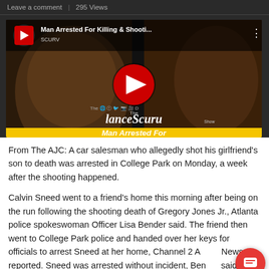Leave a comment | 295 Views
[Figure (screenshot): YouTube video thumbnail for 'Man Arrested For Killing & Shooti...' by LanceScuru Show, showing two men's faces and a YouTube play button overlay. Bottom bar reads 'Man Arrested For' in yellow italic text.]
From The AJC: A car salesman who allegedly shot his girlfriend’s son to death was arrested in College Park on Monday, a week after the shooting happened.
Calvin Sneed went to a friend’s home this morning after being on the run following the shooting death of Gregory Jones Jr., Atlanta police spokeswoman Officer Lisa Bender said. The friend then went to College Park police and handed over her keys for officials to arrest Sneed at her home, Channel 2 Action News reported. Sneed was arrested without incident, Bender said.